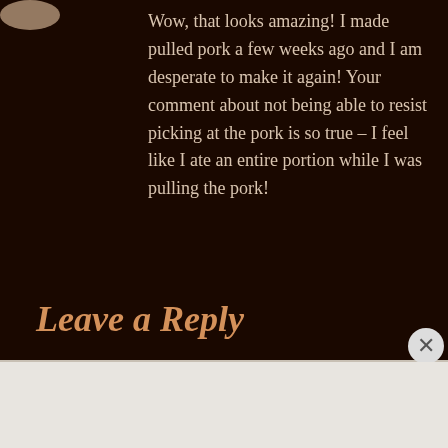Wow, that looks amazing! I made pulled pork a few weeks ago and I am desperate to make it again! Your comment about not being able to resist picking at the pork is so true – I feel like I ate an entire portion while I was pulling the pork!
Leave a Reply
Advertisements
Build a writing habit. Post on the go.